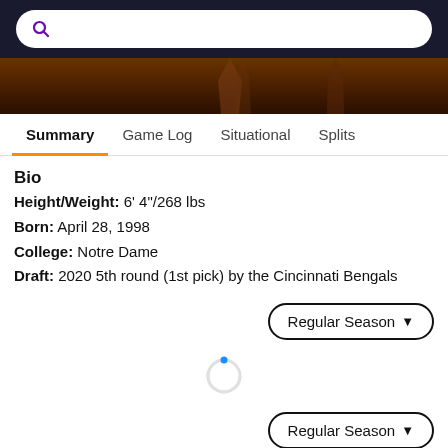[Figure (screenshot): Dark navigation header bar with a white rounded search box containing a purple search icon]
[Figure (photo): Cropped hero image showing a dark brownish-orange background with partial silhouette figures]
Summary | Game Log | Situational | Splits (navigation tabs, Summary is active with orange underline)
Bio
Height/Weight: 6' 4"/268 lbs
Born: April 28, 1998
College: Notre Dame
Draft: 2020 5th round (1st pick) by the Cincinnati Bengals
Regular Season (dropdown button)
[Figure (other): Loading spinner with a blue dot indicator]
Regular Season (dropdown button)
[Figure (other): Partial loading spinner at the bottom edge]